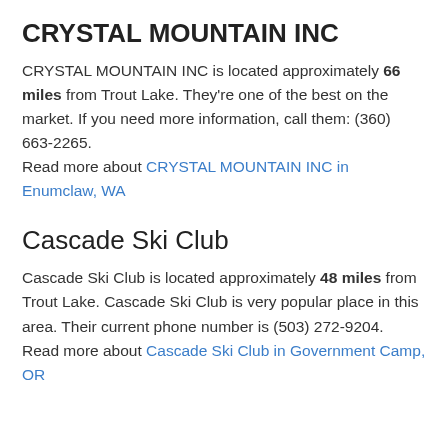CRYSTAL MOUNTAIN INC
CRYSTAL MOUNTAIN INC is located approximately 66 miles from Trout Lake. They're one of the best on the market. If you need more information, call them: (360) 663-2265.
Read more about CRYSTAL MOUNTAIN INC in Enumclaw, WA
Cascade Ski Club
Cascade Ski Club is located approximately 48 miles from Trout Lake. Cascade Ski Club is very popular place in this area. Their current phone number is (503) 272-9204.
Read more about Cascade Ski Club in Government Camp, OR